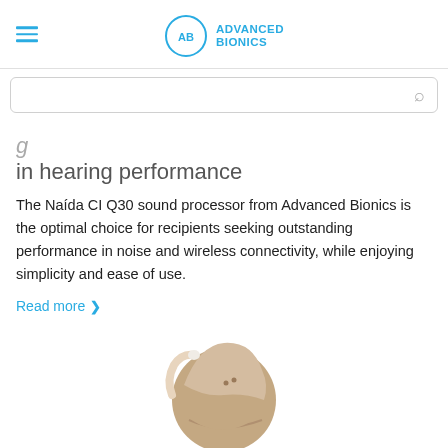Advanced Bionics
in hearing performance
The Naída CI Q30 sound processor from Advanced Bionics is the optimal choice for recipients seeking outstanding performance in noise and wireless connectivity, while enjoying simplicity and ease of use.
Read more >
[Figure (photo): Partial view of a beige/tan behind-the-ear hearing device (Naída CI Q30 sound processor) photographed from the front against a white background.]